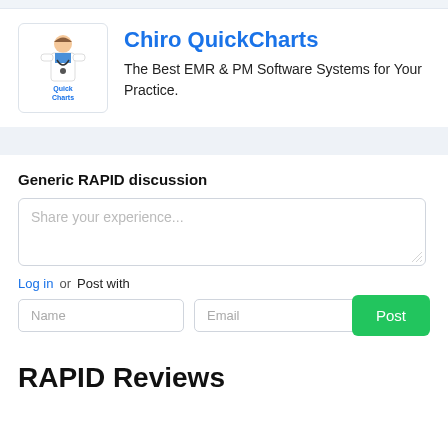[Figure (logo): Chiro QuickCharts logo showing a cartoon chiropractor figure with 'Quick Charts' text]
Chiro QuickCharts
The Best EMR & PM Software Systems for Your Practice.
Generic RAPID discussion
Share your experience...
Log in or Post with
Name
Email
Post
RAPID Reviews